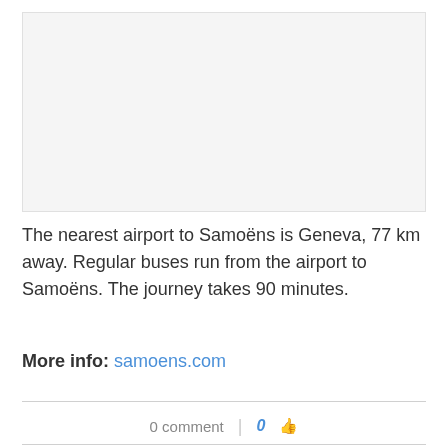[Figure (photo): Placeholder image area with light gray background]
The nearest airport to Samoëns is Geneva, 77 km away. Regular buses run from the airport to Samoëns. The journey takes 90 minutes.
More info: samoens.com
0 comment  |  0  🖒